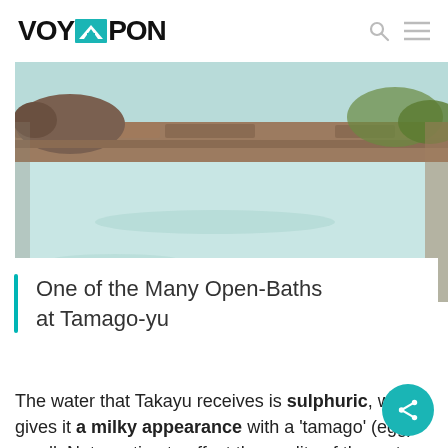VOYAPON
[Figure (photo): Outdoor hot spring bath (onsen) with milky turquoise water, stone surroundings and greenery in background at Tamago-yu]
One of the Many Open-Baths at Tamago-yu
The water that Takayu receives is sulphuric, which gives it a milky appearance with a 'tamago' (egg) smell. Not wanting to affect the quality of the water – which emerges from ten